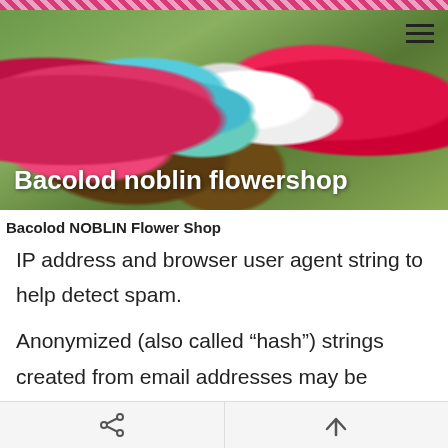[Figure (photo): Banner photo of colorful flower bouquets (red, teal/blue, white roses) on a wooden surface with green background. Overlaid white bold text reads 'Bacolod noblin flowershop'.]
Bacolod NOBLIN Flower Shop
IP address and browser user agent string to help detect spam.
Anonymized (also called “hash”) strings created from email addresses may be provided to the Gravatar service to see if you are using it. The privacy policy for this service is located at https://automattic.com/privacy/. If your comment is